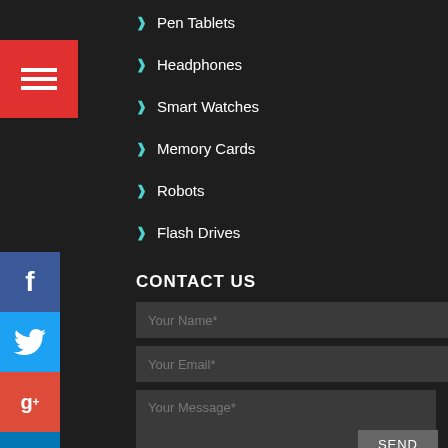[Figure (other): Red menu/hamburger button with three white horizontal lines]
Pen Tablets
Headphones
Smart Watches
Memory Cards
Robots
Flash Drives
[Figure (other): Social media icons on left side: Facebook (blue), Twitter (cyan), Google+ (red-orange), LinkedIn (blue), Pinterest (red)]
CONTACT US
Your Name*
Your Email*
Your Message*
SEND